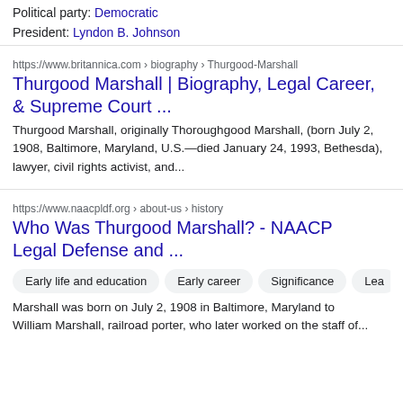Political party: Democratic
President: Lyndon B. Johnson
https://www.britannica.com › biography › Thurgood-Marshall
Thurgood Marshall | Biography, Legal Career, & Supreme Court ...
Thurgood Marshall, originally Thoroughgood Marshall, (born July 2, 1908, Baltimore, Maryland, U.S.—died January 24, 1993, Bethesda), lawyer, civil rights activist, and...
https://www.naacpldf.org › about-us › history
Who Was Thurgood Marshall? - NAACP Legal Defense and ...
Early life and education
Early career
Significance
Lea
Marshall was born on July 2, 1908 in Baltimore, Maryland to William Marshall, railroad porter, who later worked on the staff of...